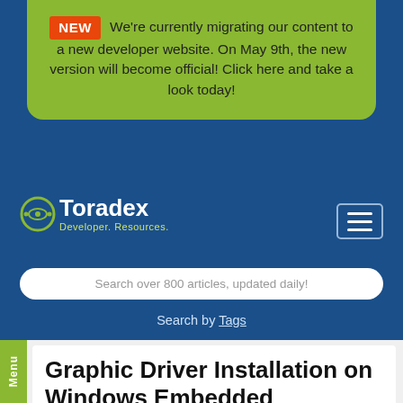NEW  We're currently migrating our content to a new developer website. On May 9th, the new version will become official! Click here and take a look today!
[Figure (logo): Toradex logo with gear-eye icon and text 'Developer. Resources.']
Search over 800 articles, updated daily!
Search by Tags
Menu
Graphic Driver Installation on Windows Embedded